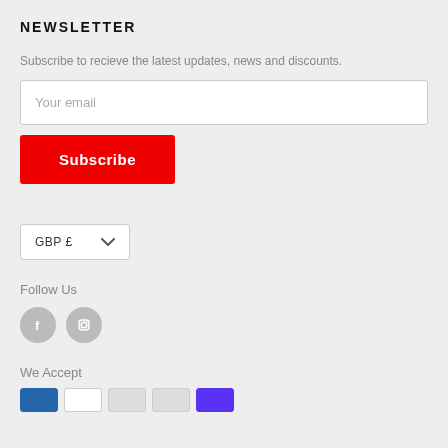NEWSLETTER
Subscribe to recieve the latest updates, news and discounts.
[Figure (other): Email input field with placeholder 'Your email']
[Figure (other): Red Subscribe button]
[Figure (other): Currency selector showing GBP £ with dropdown chevron]
Follow Us
[Figure (other): Social media icons: Facebook (f) and Instagram circle icons in grey]
We Accept
[Figure (other): Payment method icons: Amex (blue), Visa (white/outlined), Shopify (purple) and others]